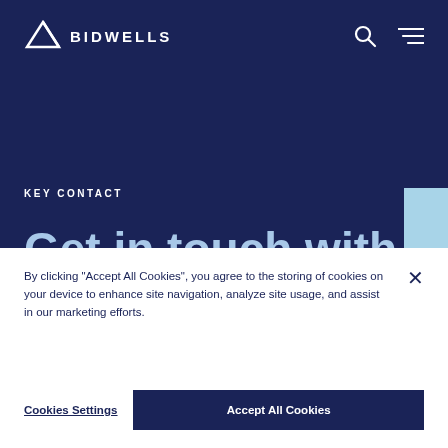[Figure (logo): Bidwells logo — white triangle arrow icon with BIDWELLS text in white on dark navy background]
KEY CONTACT
Get in touch with
By clicking "Accept All Cookies", you agree to the storing of cookies on your device to enhance site navigation, analyze site usage, and assist in our marketing efforts.
Cookies Settings
Accept All Cookies